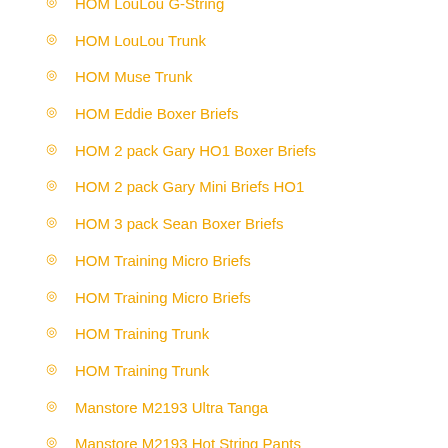HOM LouLou G-String
HOM LouLou Trunk
HOM Muse Trunk
HOM Eddie Boxer Briefs
HOM 2 pack Gary HO1 Boxer Briefs
HOM 2 pack Gary Mini Briefs HO1
HOM 3 pack Sean Boxer Briefs
HOM Training Micro Briefs
HOM Training Micro Briefs
HOM Training Trunk
HOM Training Trunk
Manstore M2193 Ultra Tanga
Manstore M2193 Hot String Pants
Manstore M2193 Workout shirt
Schiesser Longlife Soft Low Rise Shorts
Schiesser Duality Function Rio Slip
Schiesser Duality Function Shorts
Schiesser Duality Function Shorts